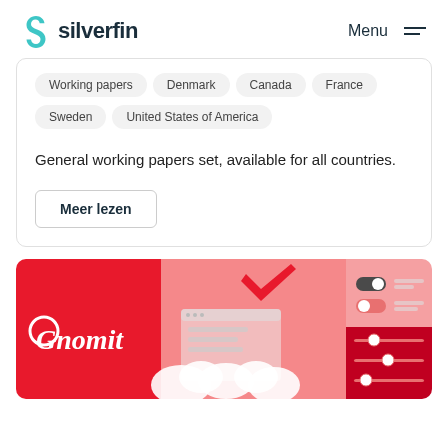[Figure (logo): Silverfin logo with teal S icon and dark text]
Menu
Working papers
Denmark
Canada
France
Sweden
United States of America
General working papers set, available for all countries.
Meer lezen
[Figure (illustration): Gnomit promotional banner with red background, white cloud shapes, checkmark icon, and UI slider/toggle illustrations]